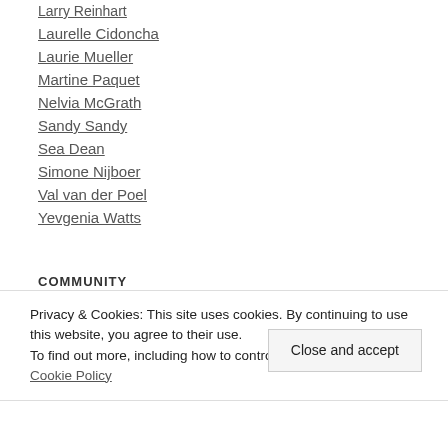Larry Reinhart
Laurelle Cidoncha
Laurie Mueller
Martine Paquet
Nelvia McGrath
Sandy Sandy
Sea Dean
Simone Nijboer
Val van der Poel
Yevgenia Watts
COMMUNITY
Privacy & Cookies: This site uses cookies. By continuing to use this website, you agree to their use. To find out more, including how to control cookies, see here: Cookie Policy